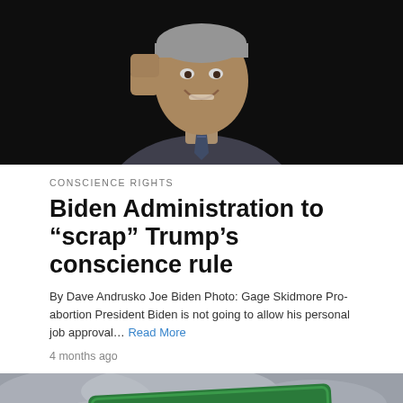[Figure (photo): A smiling man in a suit with a striped tie, raising his fist, against a dark background — appears to be Joe Biden at a public event.]
CONSCIENCE RIGHTS
Biden Administration to “scrap” Trump’s conscience rule
By Dave Andrusko Joe Biden Photo: Gage Skidmore Pro-abortion President Biden is not going to allow his personal job approval… Read More
4 months ago
[Figure (photo): A green street sign reading 'Conscience' tilted against a cloudy grey sky background.]